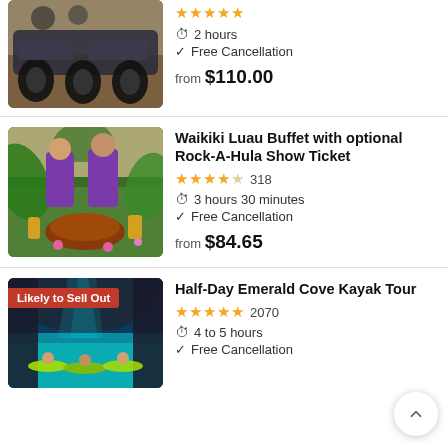[Figure (photo): ATV vehicles lined up on a dirt trail]
2 hours
Free Cancellation
from $110.00
[Figure (photo): Two men in purple shirts at a Hawaiian luau with roasted pig and tropical decorations]
Waikiki Luau Buffet with optional Rock-A-Hula Show Ticket
318
3 hours 30 minutes
Free Cancellation
from $84.65
[Figure (photo): Kayakers in glowing turquoise cave waters]
Half-Day Emerald Cove Kayak Tour
2070
4 to 5 hours
Free Cancellation